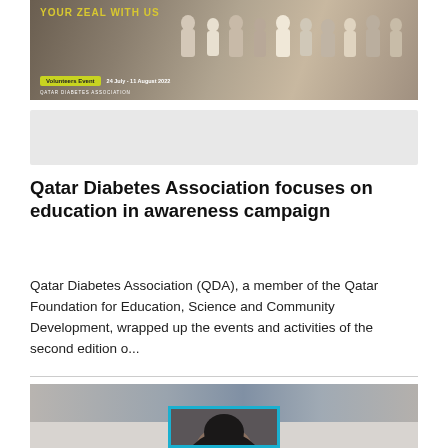[Figure (photo): Group photo of volunteers at Qatar Diabetes Association event with text overlay 'YOUR ZEAL WITH US', Volunteers Event badge, date 24 July - 11 August 2022, Qatar Diabetes Association]
[Figure (photo): Advertisement banner placeholder with light gray background]
Qatar Diabetes Association focuses on education in awareness campaign
Qatar Diabetes Association (QDA), a member of the Qatar Foundation for Education, Science and Community Development, wrapped up the events and activities of the second edition o...
[Figure (photo): Portrait photo of a woman wearing a black hijab, displayed with a blue border frame, against a gray gradient background]